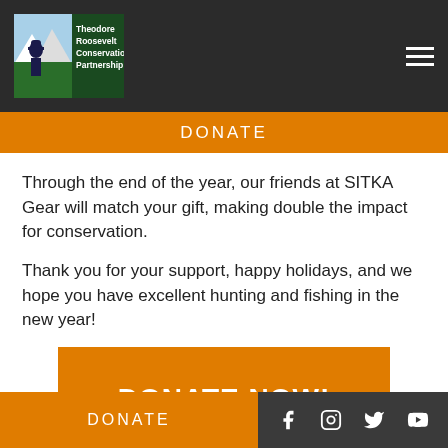[Figure (logo): Theodore Roosevelt Conservation Partnership logo with mountain and figure silhouette on green/yellow/blue background, white text on dark green]
DONATE
Through the end of the year, our friends at SITKA Gear will match your gift, making double the impact for conservation.
Thank you for your support, happy holidays, and we hope you have excellent hunting and fishing in the new year!
[Figure (other): Orange button with white bold text reading DONATE NOW!]
DONATE  [Facebook] [Instagram] [Twitter] [YouTube]